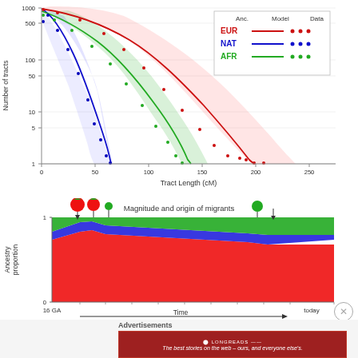[Figure (continuous-plot): Semi-log plot of Number of tracts (y-axis, log scale: 1 to 1000) vs Tract Length in cM (x-axis: 0 to 250+). Three ancestry lines: EUR (red solid line with red dots), NAT (blue solid line with blue dots), AFR (green solid line with green dots). Shaded confidence intervals around each line. Legend top right shows Anc., Model, Data columns.]
[Figure (stacked-bar-chart): Stacked area/bar chart showing ancestry proportion (0 to 1) over time from 16 GA to today. Red (EUR), blue (NAT), and green (AFR) stacked proportions. Migration events shown as circles on arrows at the top. Title: Magnitude and origin of migrants. X-axis label: Time with arrow pointing right. Y-axis: Ancestry proportion (0 to 1).]
Advertisements
[Figure (screenshot): Advertisement banner for Longreads. Dark red background with white text: The best stories on the web - ours, and everyone else's. Longreads logo at top center.]